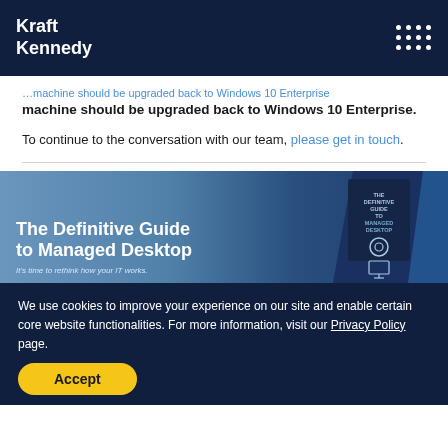Kraft Kennedy
machine should be upgraded back to Windows 10 Enterprise.
To continue to the conversation with our team, please get in touch.
[Figure (illustration): Promotional banner for 'The Definitive Guide to Managed Desktop' with tagline 'It's time to rethink how your IT works.' showing a book cover mockup with gear/monitor icon on a blue gradient background.]
We use cookies to improve your experience on our site and enable certain core website functionalities. For more information, visit our Privacy Policy page.
Accept